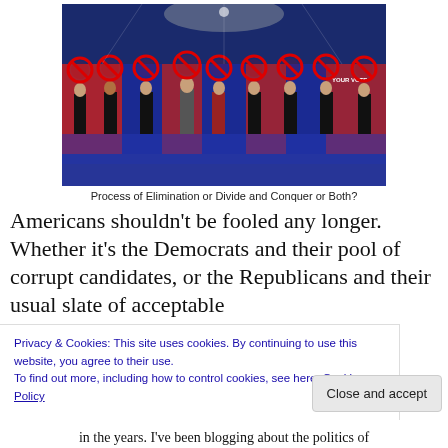[Figure (photo): Group of political debate candidates standing on a stage with red prohibition signs (circles with diagonal lines) overlaid on each person's head. Background shows debate stage lighting in blue and red. Text 'YOUR VOTE' partially visible at right.]
Process of Elimination or Divide and Conquer or Both?
Americans shouldn't be fooled any longer. Whether it's the Democrats and their pool of corrupt candidates, or the Republicans and their usual slate of acceptable
Privacy & Cookies: This site uses cookies. By continuing to use this website, you agree to their use.
To find out more, including how to control cookies, see here: Cookie Policy
Close and accept
in the years. I've been blogging about the politics of